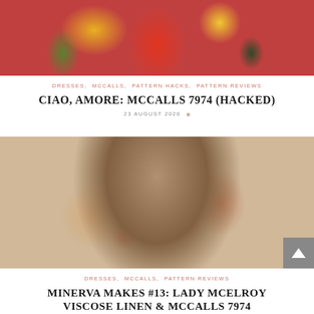[Figure (photo): Woman wearing a red and yellow floral wrap dress, photographed outdoors near a dark metal fence with green foliage]
DRESSES, MCCALLS, PATTERN HACKS, PATTERN REVIEWS
CIAO, AMORE: MCCALLS 7974 (HACKED)
23 AUGUST 2020
[Figure (photo): Woman with auburn/red hair wearing a floral wrap top with deep V-neckline, featuring pink and orange flowers on a light background, wearing an orange crescent necklace]
DRESSES, MCCALLS, PATTERN REVIEWS
MINERVA MAKES #13: LADY MCELROY VISCOSE LINEN & MCCALLS 7974
5 MARCH 2022